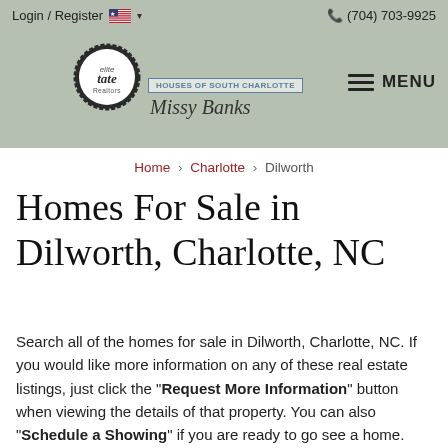Login / Register | (704) 703-9925
[Figure (logo): Tate Realtors logo badge with circular gear border, 'tate Realtors' text inside. Below: 'HOUSES OF SOUTH CHARLOTTE' in blue border box. Signature 'Missy Banks' in cursive below.]
MENU
Home > Charlotte > Dilworth
Homes For Sale in Dilworth, Charlotte, NC
Search all of the homes for sale in Dilworth, Charlotte, NC. If you would like more information on any of these real estate listings, just click the "Request More Information" button when viewing the details of that property. You can also "Schedule a Showing" if you are ready to go see a home.